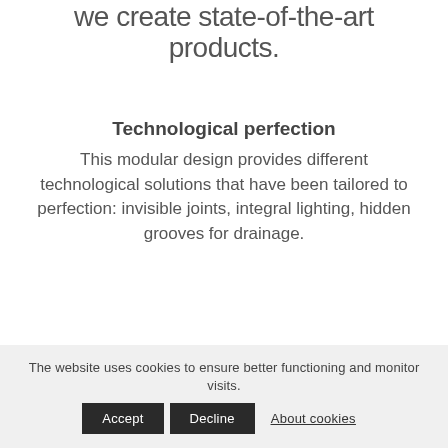we create state-of-the-art products.
Technological perfection
This modular design provides different technological solutions that have been tailored to perfection: invisible joints, integral lighting, hidden grooves for drainage.
The website uses cookies to ensure better functioning and monitor visits.
Accept   Decline   About cookies